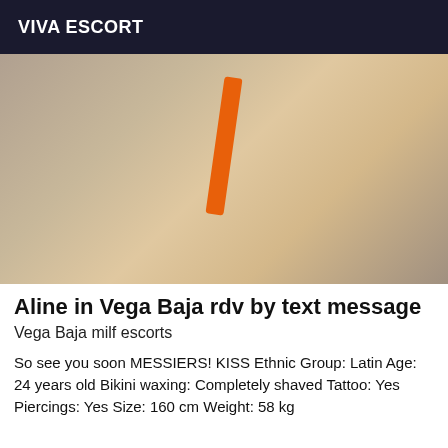VIVA ESCORT
[Figure (photo): Close-up photo of a person wearing an orange bikini bottom]
Aline in Vega Baja rdv by text message
Vega Baja milf escorts
So see you soon MESSIERS! KISS Ethnic Group: Latin Age: 24 years old Bikini waxing: Completely shaved Tattoo: Yes Piercings: Yes Size: 160 cm Weight: 58 kg